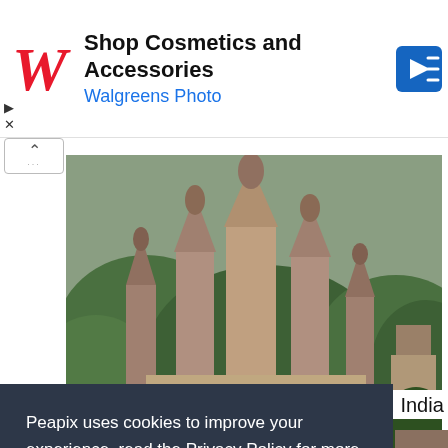[Figure (screenshot): Walgreens advertisement banner with red cursive W logo, text 'Shop Cosmetics and Accessories', 'Walgreens Photo' in blue, and a blue navigation arrow icon on the right]
[Figure (photo): The chhatris of Orchha in Madhya Pradesh, India — ancient sandstone temple spires with multiple tiered towers rising above dense green forest]
The chhatris of Orchha in Madhya Pradesh, India
Peapix uses cookies to improve your experience, read the Privacy Policy for more information.  Learn more
[Figure (screenshot): Dark teal 'Got it!' cookie consent button]